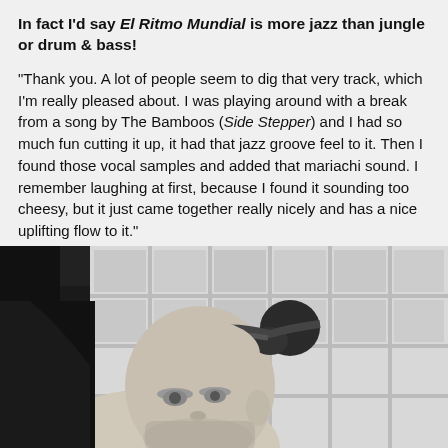In fact I'd say El Ritmo Mundial is more jazz than jungle or drum & bass!
"Thank you. A lot of people seem to dig that very track, which I'm really pleased about. I was playing around with a break from a song by The Bamboos (Side Stepper) and I had so much fun cutting it up, it had that jazz groove feel to it. Then I found those vocal samples and added that mariachi sound. I remember laughing at first, because I found it sounding too cheesy, but it just came together really nicely and has a nice uplifting flow to it."
[Figure (photo): Black and white photo of a young man with hair tied up in a bun, standing in front of a white shelving unit with multiple cubby holes. He is shown from roughly the shoulders up, facing slightly to the left.]